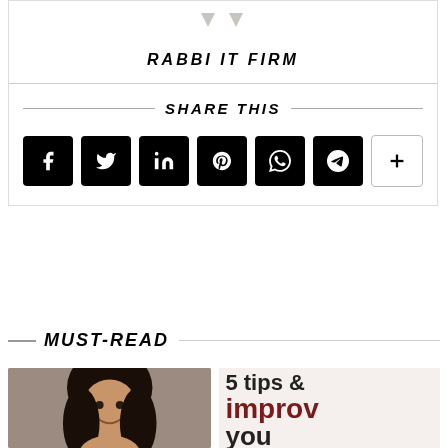[Figure (logo): Rabbi IT Firm logo with two gray downward chevrons/arrows above the brand name]
RABBI IT FIRM
SHARE THIS
[Figure (infographic): Social share buttons: Facebook, Twitter, LinkedIn, Pinterest, WhatsApp, Telegram, and a plus/more button]
MUST-READ
[Figure (photo): Photo of a woman smiling, and a partially visible graphic with large text reading 'tips & improve you' in dark red/maroon color]